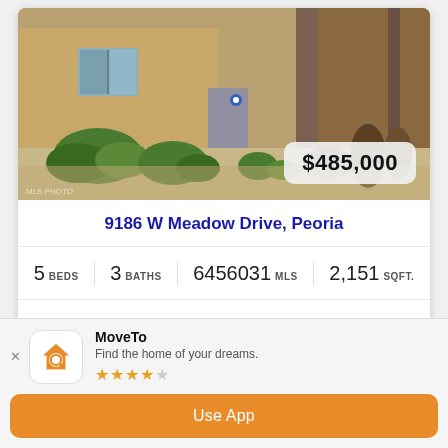[Figure (photo): Exterior photo of a two-story home with desert landscaping, tan stucco and stone facade, green shrubs, walkway to entrance. Price badge showing $485,000 in lower right corner.]
9186 W Meadow Drive, Peoria
5 BEDS   3 BATHS   6456031 MLS   2,151 SQFT.
This Peoria two-story home offers granite countertops, and a two-car garage.
[Figure (logo): MoveTo app icon — orange house with magnifying glass on white rounded square background.]
MoveTo
Find the home of your dreams.
★★★★☆
Use App